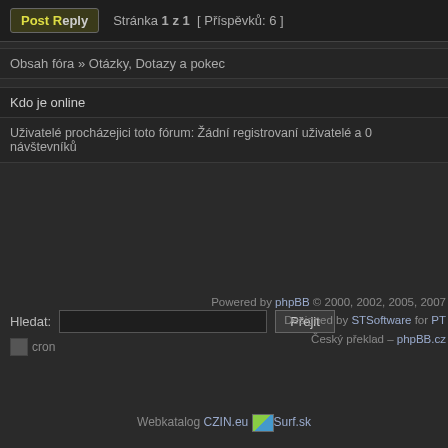Post Reply  Stránka 1 z 1  [ Příspěvků: 6 ]
Obsah fóra » Otázky, Dotazy a pokec
Kdo je online
Uživatelé procházejici toto fórum: Žádní registrovaní uživatelé a 0 návštevníků
Hledat:  [input]  Přejit
cron
Powered by phpBB © 2000, 2002, 2005, 2007 Designed by STSoftware for PTI Český překlad – phpBB.cz
Webkatalog CZIN.eu  Surf.sk